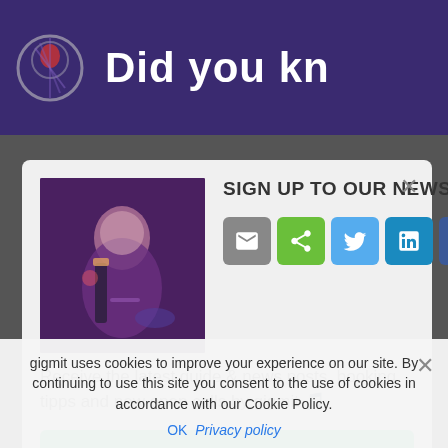[Figure (screenshot): Purple/dark top banner with circular icon and partial text 'Did you kn']
SIGN UP TO OUR NEWSLETTER
[Figure (photo): Artist/musician photo with purple tones, person playing guitar]
[Figure (infographic): Row of social sharing icons: email (grey), share (green), Twitter (light blue), LinkedIn (teal), Facebook (dark blue), RSS (orange)]
Receive the latest guide & news posts, booking tipps and new open calls by gigmit 🎵
Subscribe
gigmit uses cookies to improve your experience on our site. By continuing to use this site you consent to the use of cookies in accordance with our Cookie Policy.
OK  Privacy policy